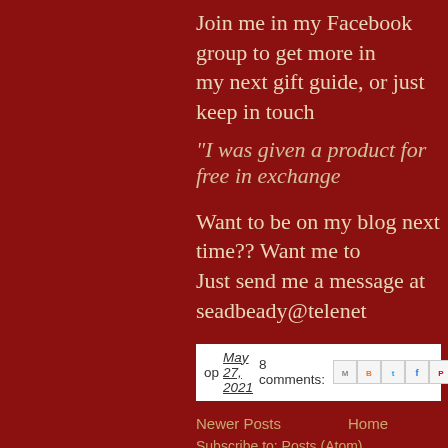Join me in my Facebook group to get more in my next gift guide, or just keep in touch
“I was given a product for free in exchange
Want to be on my blog next time?? Want me to Just send me a message at seadbeady@telenet
op May 27, 2021  8 comments:
Newer Posts   Home
Subscribe to: Posts (Atom)
How to connect with European Brands or Small shops a
Hi There.....Would you like to connect with others? Yes..... Cool..... I m you..... No...... Ok, I am cool ...